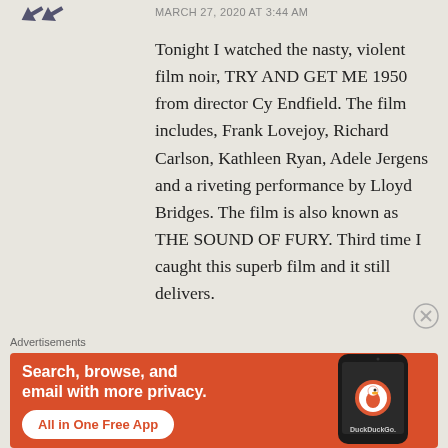MARCH 27, 2020 AT 3:44 AM
Tonight I watched the nasty, violent film noir, TRY AND GET ME 1950 from director Cy Endfield. The film includes, Frank Lovejoy, Richard Carlson, Kathleen Ryan, Adele Jergens and a riveting performance by Lloyd Bridges. The film is also known as THE SOUND OF FURY. Third time I caught this superb film and it still delivers.
Advertisements
[Figure (screenshot): DuckDuckGo advertisement banner with orange background showing phone image and text: Search, browse, and email with more privacy. All in One Free App. DuckDuckGo.]